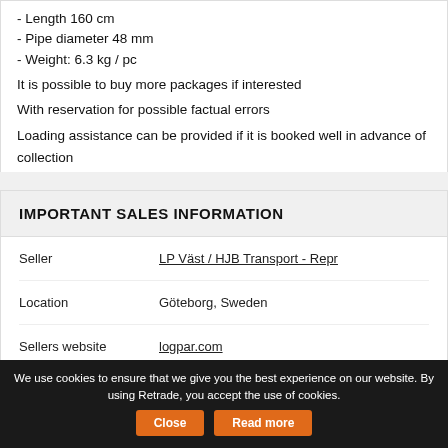- Length 160 cm
- Pipe diameter 48 mm
- Weight: 6.3 kg / pc
It is possible to buy more packages if interested
With reservation for possible factual errors
Loading assistance can be provided if it is booked well in advance of collection
IMPORTANT SALES INFORMATION
|  |  |
| --- | --- |
| Seller | LP Väst / HJB Transport - Repr |
| Location | Göteborg, Sweden |
| Sellers website | logpar.com |
Seller Information
We use cookies to ensure that we give you the best experience on our website. By using Retrade, you accept the use of cookies.